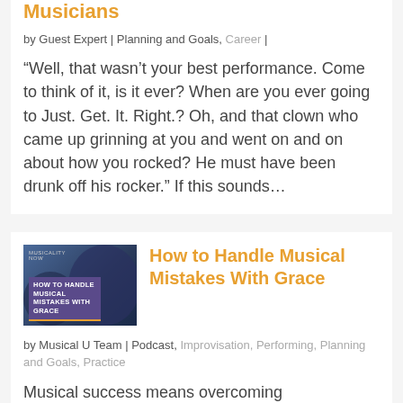Musicians
by Guest Expert | Planning and Goals, Career |
“Well, that wasn’t your best performance. Come to think of it, is it ever? When are you ever going to Just. Get. It. Right.? Oh, and that clown who came up grinning at you and went on and on about how you rocked? He must have been drunk off his rocker.” If this sounds…
[Figure (photo): Thumbnail image for article 'How to Handle Musical Mistakes With Grace' from Musicality Now, showing a musician with text overlay on dark background]
How to Handle Musical Mistakes With Grace
by Musical U Team | Podcast, Improvisation, Performing, Planning and Goals, Practice
Musical success means overcoming